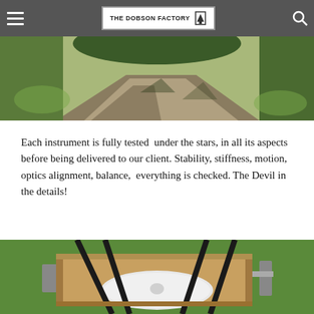THE DOBSON FACTORY
[Figure (photo): Outdoor path or driveway with grass and trees/shrubs, viewed from above or at an angle, daytime.]
Each instrument is fully tested under the stars, in all its aspects before being delivered to our client. Stability, stiffness, motion, optics alignment, balance, everything is checked. The Devil in the details!
[Figure (photo): Close-up of a Dobsonian telescope mirror box and truss poles, showing the primary mirror, wooden box structure, and metal components, outdoors on grass.]